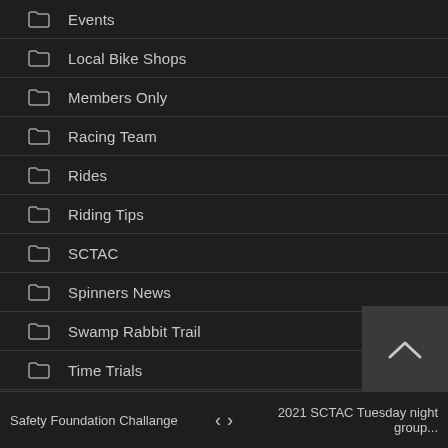Events
Local Bike Shops
Members Only
Racing Team
Rides
Riding Tips
SCTAC
Spinners News
Swamp Rabbit Trail
Time Trials
Vintage Bikes
Volunteering
Safety Foundation Challange  <  >  2021 SCTAC Tuesday night group...